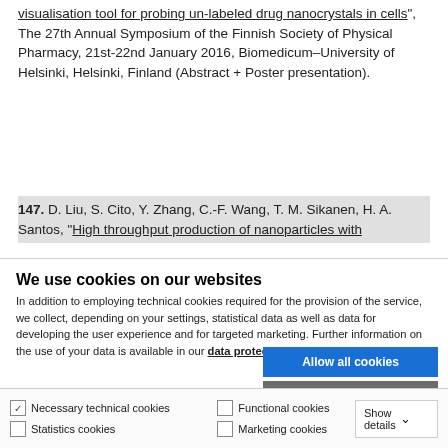visualisation tool for probing un-labeled drug nanocrystals in cells", The 27th Annual Symposium of the Finnish Society of Physical Pharmacy, 21st-22nd January 2016, Biomedicum–University of Helsinki, Helsinki, Finland (Abstract + Poster presentation).
147. D. Liu, S. Cito, Y. Zhang, C.-F. Wang, T. M. Sikanen, H. A. Santos, "High throughput production of nanoparticles with
We use cookies on our websites
In addition to employing technical cookies required for the provision of the service, we collect, depending on your settings, statistical data as well as data for developing the user experience and for targeted marketing. Further information on the use of your data is available in our data protection statement.
Allow all cookies
Allow selection
Use necessary cookies only
Necessary technical cookies   Functional cookies   Statistics cookies   Marketing cookies   Show details